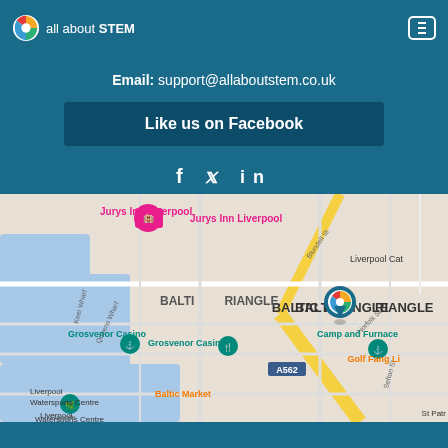all about STEM
Email: support@allaboutstem.co.uk
Like us on Facebook
f  in
[Figure (map): Google Map showing Baltic Triangle area in Liverpool, with markers for Jurys Inn Liverpool, Grosvenor Casino, Camp and Furnace, Baltic Market, Liverpool Watersports Centre, Golf Fang Li, and the All About STEM location pin in the Baltic Triangle. Street labels include Blundell St, Norfolk St, Keel Wharf, Queens Wharf, Sefton St, Stanhope St. Roads include A562. Zoom controls (+/-) visible on right side.]